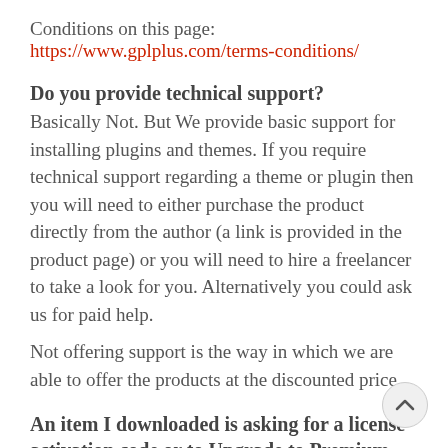Conditions on this page:
https://www.gplplus.com/terms-conditions/
Do you provide technical support?
Basically Not. But We provide basic support for installing plugins and themes. If you require technical support regarding a theme or plugin then you will need to either purchase the product directly from the author (a link is provided in the product page) or you will need to hire a freelancer to take a look for you. Alternatively you could ask us for paid help.
Not offering support is the way in which we are able to offer the products at the discounted price.
An item I downloaded is asking for a license activation code or to Upgrade to Premium. What to do?